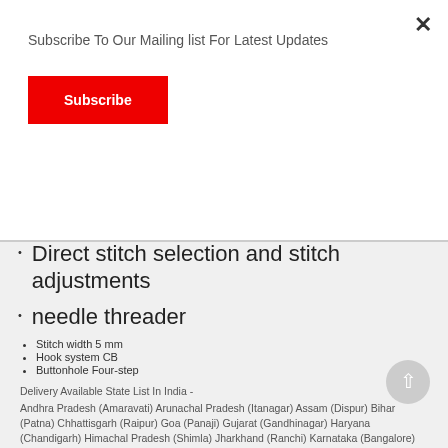Subscribe To Our Mailing list For Latest Updates
Subscribe
Presser foot pressure
Direct stitch selection and stitch adjustments
needle threader
Stitch width 5 mm
Hook system CB
Buttonhole Four-step
Delivery Available State List In India -
Andhra Pradesh (Amaravati) Arunachal Pradesh (Itanagar) Assam (Dispur) Bihar (Patna) Chhattisgarh (Raipur) Goa (Panaji) Gujarat (Gandhinagar) Haryana (Chandigarh) Himachal Pradesh (Shimla) Jharkhand (Ranchi) Karnataka (Bangalore) Kerala